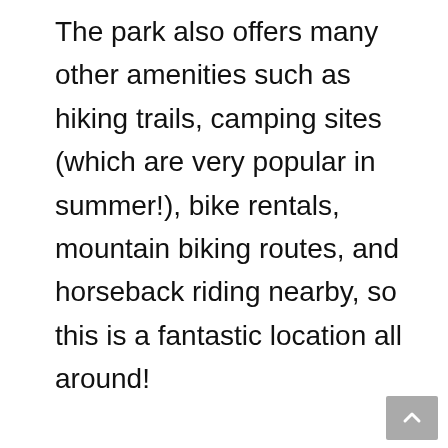The park also offers many other amenities such as hiking trails, camping sites (which are very popular in summer!), bike rentals, mountain biking routes, and horseback riding nearby, so this is a fantastic location all around!